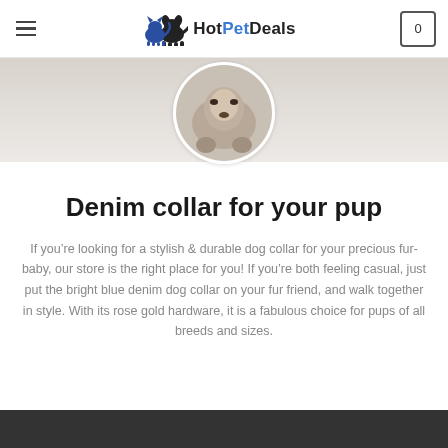HotPetDeals
[Figure (photo): Circular cropped photo of a dog viewed from above, on carpet, with person's hands/clothing visible]
Denim collar for your pup
If you’re looking for a stylish & durable dog collar for your precious fur-baby, our store is the right place for you! If you’re both feeling casual, just put the bright blue denim dog collar on your fur friend, and walk together in style. With its rose gold hardware, it is a fabulous choice for pups of all breeds and sizes.